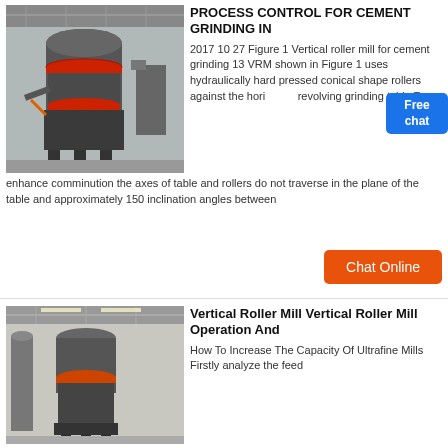[Figure (photo): Industrial vertical roller mill machine in a factory setting, shown in grey/dark color with red accent rings]
PROCESS CONTROL FOR CEMENT GRINDING IN
2017 10 27 Figure 1 Vertical roller mill for cement grinding 13 VRM shown in Figure 1 uses hydraulically hard pressed conical shape rollers against the hori revolving grinding table To enhance comminution the axes of table and rollers do not traverse in the plane of the table and approximately 150 inclination angles between
[Figure (other): Free chat badge button]
Chat Online
[Figure (photo): Industrial vertical roller mill machine in a large factory warehouse, grey equipment with orange/red accent ring]
Vertical Roller Mill Vertical Roller Mill Operation And
How To Increase The Capacity Of Ultrafine Mills Firstly analyze the feed